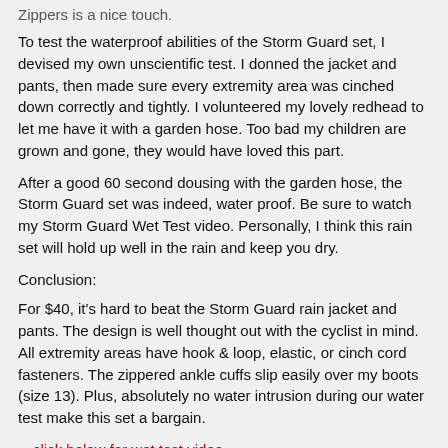Zippers is a nice touch.
To test the waterproof abilities of the Storm Guard set, I devised my own unscientific test. I donned the jacket and pants, then made sure every extremity area was cinched down correctly and tightly. I volunteered my lovely redhead to let me have it with a garden hose. Too bad my children are grown and gone, they would have loved this part.
After a good 60 second dousing with the garden hose, the Storm Guard set was indeed, water proof. Be sure to watch my Storm Guard Wet Test video. Personally, I think this rain set will hold up well in the rain and keep you dry.
Conclusion:
For $40, it's hard to beat the Storm Guard rain jacket and pants. The design is well thought out with the cyclist in mind. All extremity areas have hook & loop, elastic, or cinch cord fasteners. The zippered ankle cuffs slip easily over my boots (size 13). Plus, absolutely no water intrusion during our water test make this set a bargain.
---click below for wet test video---
[Figure (other): Empty video placeholder box]